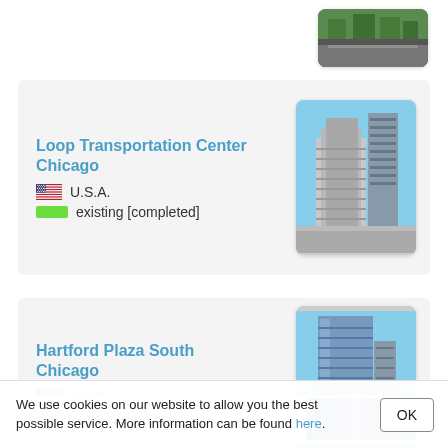[Figure (photo): Partial view of a city street photo at the top of the page]
Loop Transportation Center
Chicago
U.S.A.
existing [completed]
[Figure (photo): Photo of Loop Transportation Center, Chicago — modern stepped glass building among skyscrapers]
Hartford Plaza South
Chicago
U.S.A.
existing [completed]
[Figure (photo): Photo of Hartford Plaza South, Chicago — tall glass tower viewed from street level]
200 East Delaware
[Figure (photo): Partial photo of 200 East Delaware building]
We use cookies on our website to allow you the best possible service. More information can be found here.